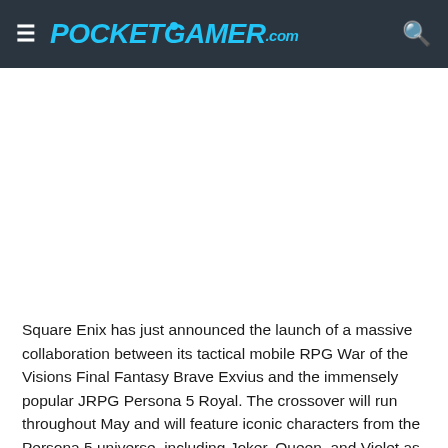≡ POCKETGAMER.com 🔍
[Figure (other): Advertisement / blank white area]
Square Enix has just announced the launch of a massive collaboration between its tactical mobile RPG War of the Visions Final Fantasy Brave Exvius and the immensely popular JRPG Persona 5 Royal. The crossover will run throughout May and will feature iconic characters from the Persona 5 universe, including Joker, Queen, and Violet as summonable units, alongside new event-exclusive Vision Cards, and more.